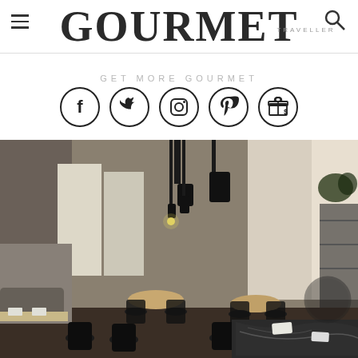GOURMET TRAVELLER
GET MORE GOURMET
[Figure (illustration): Social media icons: Facebook, Twitter, Instagram, Pinterest, Gift/subscription]
[Figure (photo): Interior of an upscale restaurant with black bentwood chairs, round and rectangular tables with white napkins, pendant lights with black cylindrical shades, concrete-look walls, and a dark marble table in the foreground]